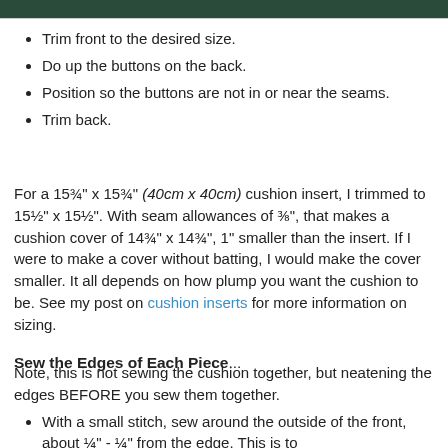[Figure (photo): Top portion of an image showing a colorful quilted or embroidered fabric with green tones.]
Trim front to the desired size.
Do up the buttons on the back.
Position so the buttons are not in or near the seams.
Trim back.
For a 15¾" x 15¾" (40cm x 40cm) cushion insert, I trimmed to 15½" x 15½". With seam allowances of ⅜", that makes a cushion cover of 14¾" x 14¾", 1" smaller than the insert. If I were to make a cover without batting, I would make the cover smaller. It all depends on how plump you want the cushion to be. See my post on cushion inserts for more information on sizing.
Sew the Edges of Each Piece...
Note, this is not sewing the cushion together, but neatening the edges BEFORE you sew them together.
With a small stitch, sew around the outside of the front, about ¼" - ¼" from the edge. This is to